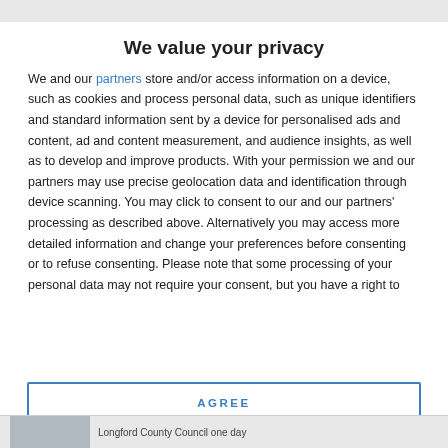We value your privacy
We and our partners store and/or access information on a device, such as cookies and process personal data, such as unique identifiers and standard information sent by a device for personalised ads and content, ad and content measurement, and audience insights, as well as to develop and improve products. With your permission we and our partners may use precise geolocation data and identification through device scanning. You may click to consent to our and our partners' processing as described above. Alternatively you may access more detailed information and change your preferences before consenting or to refuse consenting. Please note that some processing of your personal data may not require your consent, but you have a right to
AGREE
MORE OPTIONS
Longford County Council one day